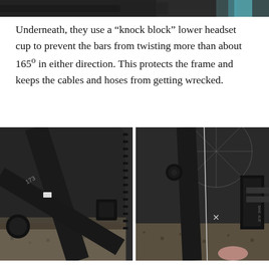[Figure (photo): Top cropped photo of a bicycle, showing handlebars/headset area with teal accent color visible]
Underneath, they use a “knock block” lower headset cup to prevent the bars from twisting more than about 165º in either direction. This protects the frame and keeps the cables and hoses from getting wrecked.
[Figure (photo): Two side-by-side close-up photos of a bicycle drivetrain area. Left photo shows chainring teeth and bottom bracket area of a matte black carbon frame. Right photo shows the chainstay area with cable routing and chain visible.]
Another unique touch is the finned drive side chainstay, a feature